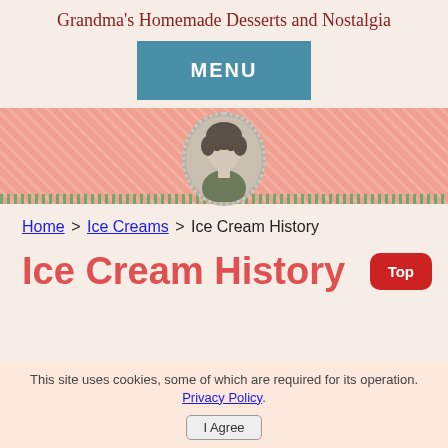Grandma's Homemade Desserts and Nostalgia
[Figure (other): Teal/blue MENU button]
[Figure (photo): Pink patterned banner with a circular portrait photo of a woman in the center and green stripe border at bottom]
Home > Ice Creams > Ice Cream History
Ice Cream History
This site uses cookies, some of which are required for its operation. Privacy Policy.
I Agree